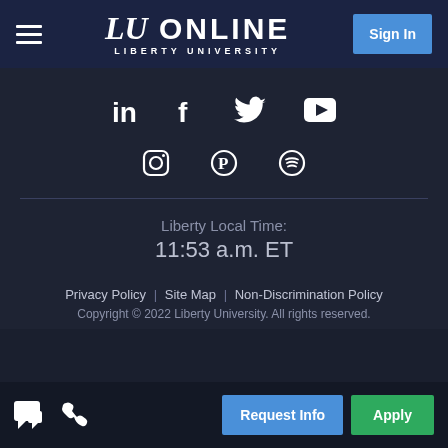LU ONLINE — LIBERTY UNIVERSITY — Sign In
[Figure (illustration): Social media icons: LinkedIn, Facebook, Twitter, YouTube, Instagram, Pinterest, Spotify]
Liberty Local Time: 11:53 a.m. ET
Privacy Policy  Site Map  Non-Discrimination Policy  Copyright © 2022 Liberty University. All rights reserved.